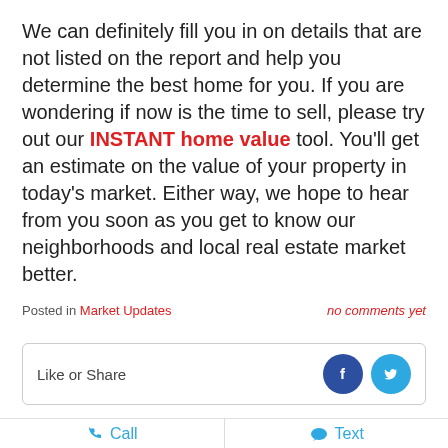We can definitely fill you in on details that are not listed on the report and help you determine the best home for you. If you are wondering if now is the time to sell, please try out our INSTANT home value tool. You'll get an estimate on the value of your property in today's market. Either way, we hope to hear from you soon as you get to know our neighborhoods and local real estate market better.
Posted in Market Updates | no comments yet
Like or Share
Call | Text